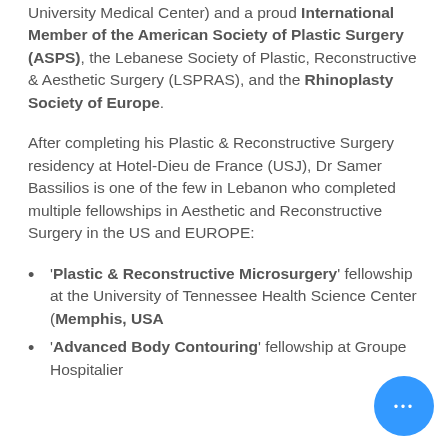University Medical Center) and a proud International Member of the American Society of Plastic Surgery (ASPS), the Lebanese Society of Plastic, Reconstructive & Aesthetic Surgery (LSPRAS), and the Rhinoplasty Society of Europe.
After completing his Plastic & Reconstructive Surgery residency at Hotel-Dieu de France (USJ), Dr Samer Bassilios is one of the few in Lebanon who completed multiple fellowships in Aesthetic and Reconstructive Surgery in the US and EUROPE:
'Plastic & Reconstructive Microsurgery' fellowship at the University of Tennessee Health Science Center (Memphis, USA)
'Advanced Body Contouring' fellowship at Groupe Hospitalier